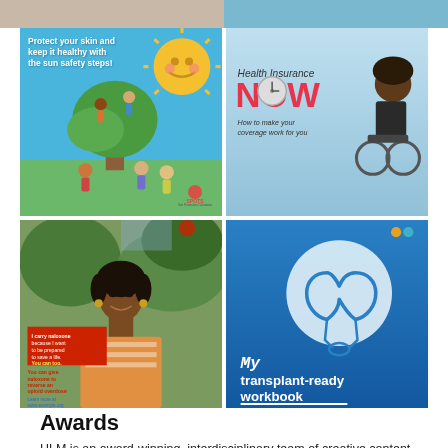[Figure (photo): Top strip with partial images — dark brownish left half, light blue right half]
[Figure (illustration): Sun safety illustration: blue-sky background with sun character, children playing in tree, text 'Protect your skin and keep it healthy with the sun safety steps!' SPOTS logo at bottom right]
[Figure (illustration): Health Insurance NOW illustration: light blue background, large red text 'NOW', subtitle 'How to make your coverage work for you', person in wheelchair on right side]
[Figure (photo): Photo of a Black woman smiling, outdoors, with red text box about carrying naloxone and opioid overdose reversal information]
[Figure (illustration): My transplant-ready workbook: blue background, white circle with kidney icon, two dots (orange and teal) at top right, white text 'My transplant-ready workbook' with underline]
Awards
HLM is an award-winning, interdisciplinary team of creative content and usability experts.  Our team has become national thought